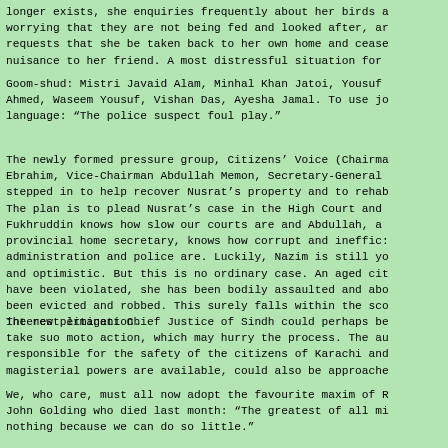[...] longer exists, she enquiries frequently about her birds and worrying that they are not being fed and looked after, and requests that she be taken back to her own home and ceases nuisance to her friend. A most distressful situation for
Goom-shud: Mistri Javaid Alam, Minhal Khan Jatoi, Yousuf Ahmed, Waseem Yousuf, Vishan Das, Ayesha Jamal. To use journalistic language: “The police suspect foul play.”
The newly formed pressure group, Citizens’ Voice (Chairman Ebrahim, Vice-Chairman Abdullah Memon, Secretary-General stepped in to help recover Nusrat’s property and to rehabilitate. The plan is to plead Nusrat’s case in the High Court and Fukhruddin knows how slow our courts are and Abdullah, a former provincial home secretary, knows how corrupt and inefficient the administration and police are. Luckily, Nazim is still young and optimistic. But this is no ordinary case. An aged citizen’s rights have been violated, she has been bodily assaulted and abused, been evicted and robbed. This surely falls within the scope of public interest litigation.
The new permanent Chief Justice of Sindh could perhaps be persuaded to take suo moto action, which may hurry the process. The authority responsible for the safety of the citizens of Karachi and who has magisterial powers are available, could also be approached.
We, who care, must all now adopt the favourite maxim of the late John Golding who died last month: “The greatest of all mistakes is to do nothing because we can do so little.”